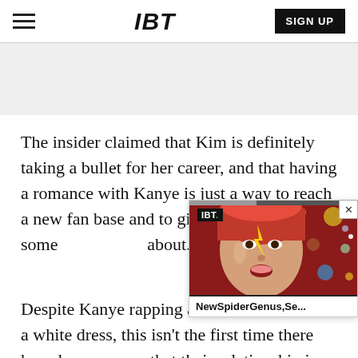IBT | SIGN UP
[Figure (other): Gray advertisement/banner area below header]
The insider claimed that Kim is definitely taking a bullet for her career, and that having a romance with Kanye is just a way to reach a new fan base and to give the media something to talk about. (Wait, I guess that's w...
[Figure (screenshot): Floating video overlay widget showing IBT logo, a colorful face (David Bowie-like) with lightning bolt makeup on a red background with planets, with caption 'NewSpiderGenus,Se...' and a close (X) button]
Despite Kanye rapping abo... Kim in a white dress, this isn't the first time there have been rumors that their relationship is just for